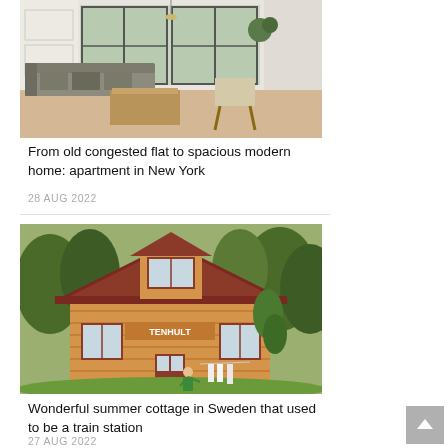[Figure (photo): Modern white living room interior with grey L-shaped sofa, wooden coffee table, and large black-framed windows]
From old congested flat to spacious modern home: apartment in New York
28 AUG 2022
[Figure (photo): Exterior of a traditional Swedish summer cottage painted yellow and red, with sign reading TENHULT, surrounded by green trees, person hanging laundry]
Wonderful summer cottage in Sweden that used to be a train station
27 AUG 2022